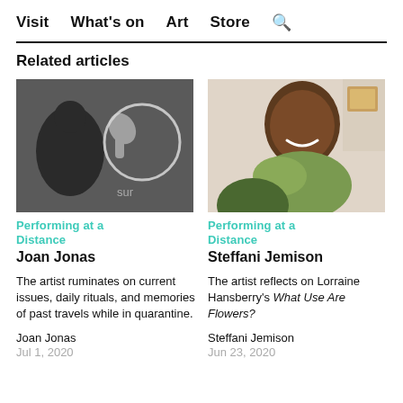Visit  What's on  Art  Store  🔍
Related articles
[Figure (photo): Black and white photo of a person drawing a circle on a surface with their hand]
Performing at a Distance
Joan Jonas
The artist ruminates on current issues, daily rituals, and memories of past travels while in quarantine.
Joan Jonas
Jul 1, 2020
[Figure (photo): Color photo of a smiling woman wearing a green scarf]
Performing at a Distance
Steffani Jemison
The artist reflects on Lorraine Hansberry's What Use Are Flowers?
Steffani Jemison
Jun 23, 2020